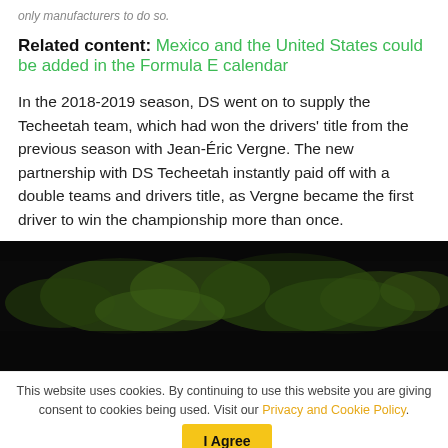only manufacturers to do so.
Related content: Mexico and the United States could be added in the Formula E calendar
In the 2018-2019 season, DS went on to supply the Techeetah team, which had won the drivers' title from the previous season with Jean-Éric Vergne. The new partnership with DS Techeetah instantly paid off with a double teams and drivers title, as Vergne became the first driver to win the championship more than once.
[Figure (photo): Dark nighttime outdoor photo showing green foliage illuminated against a black background]
This website uses cookies. By continuing to use this website you are giving consent to cookies being used. Visit our Privacy and Cookie Policy.
I Agree